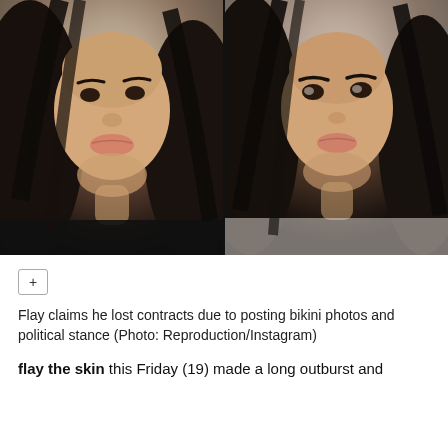[Figure (photo): Two side-by-side screenshots of a young woman with long dark hair speaking to camera, appearing to be from an Instagram video. Left photo shows her facing slightly left, right photo shows a closer or slightly different angle.]
Flay claims he lost contracts due to posting bikini photos and political stance (Photo: Reproduction/Instagram)
flay the skin this Friday (19) made a long outburst and